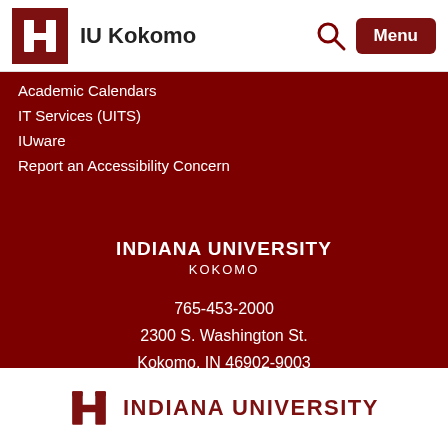IU Kokomo
Academic Calendars
IT Services (UITS)
IUware
Report an Accessibility Concern
INDIANA UNIVERSITY
KOKOMO
765-453-2000
2300 S. Washington St.
Kokomo, IN 46902-9003
INDIANA UNIVERSITY